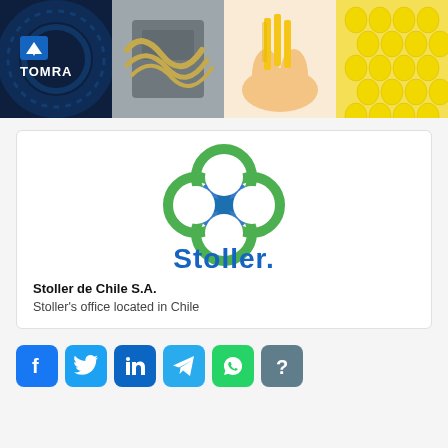[Figure (photo): Top strip of four images: TOMRA logo on dark background, yellow food processing machine, hands holding french fries, close-up of corn kernels]
[Figure (logo): Stoller brand logo: four interlocking circles in green and blue forming a clover shape, with 'Stoller.' text in blue below]
Stoller de Chile S.A.
Stoller's office located in Chile
[Figure (infographic): Row of six social media icon buttons: Facebook (blue), Twitter (sky blue), LinkedIn (dark blue), Telegram (teal), WhatsApp (green), Help/question mark (gray-blue)]